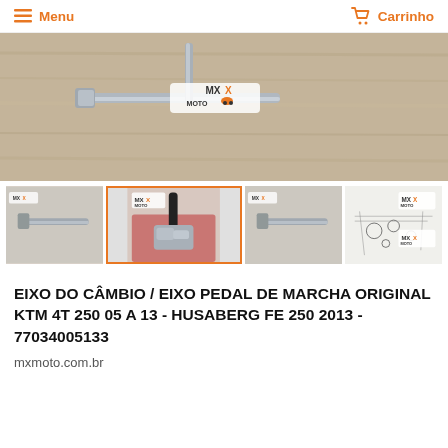Menu   Carrinho
[Figure (photo): Main product photo showing metal gear shift shaft/pedal axle on wooden surface with MX Moto logo watermark]
[Figure (photo): Thumbnail 1: Metal shaft on surface with MX Moto logo]
[Figure (photo): Thumbnail 2 (selected): Metal gear shift component in red packaging with MX Moto logo]
[Figure (photo): Thumbnail 3: Metal shaft on surface with MX Moto logo]
[Figure (photo): Thumbnail 4: Technical diagram/schematic of parts with MX Moto logo]
EIXO DO CÂMBIO / EIXO PEDAL DE MARCHA ORIGINAL KTM 4T 250 05 A 13 - HUSABERG FE 250 2013 - 77034005133
mxmoto.com.br